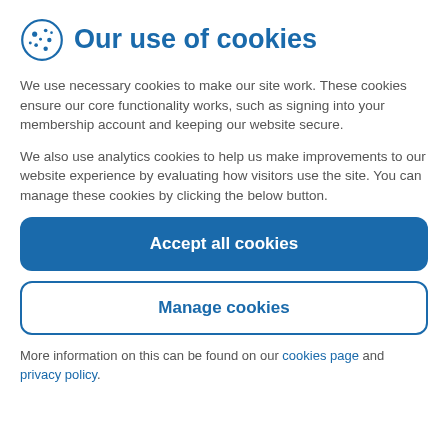Our use of cookies
We use necessary cookies to make our site work. These cookies ensure our core functionality works, such as signing into your membership account and keeping our website secure.
We also use analytics cookies to help us make improvements to our website experience by evaluating how visitors use the site. You can manage these cookies by clicking the below button.
Accept all cookies
Manage cookies
More information on this can be found on our cookies page and privacy policy.